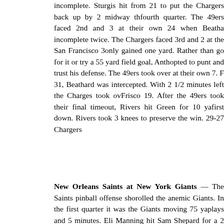incomplete. Sturgis hit from 21 to put the Chargers back up by 2 midway through the fourth quarter. The 49ers faced 2nd and 3 at their own 24 when Beathard incomplete twice. The Chargers faced 3rd and 2 at the San Francisco 38 but only gained one yard. Rather than go for it or try a 55 yard field goal, Anthony opted to punt and trust his defense. The 49ers took over at their own 7. From 31, Beathard was intercepted. With 2 1/2 minutes left the Charges took over at Frisco 19. After the 49ers took their final timeout, Rivers hit Green for 10 yards and a first down. Rivers took 3 knees to preserve the win. 29-27 Chargers
New Orleans Saints at New York Giants — The Saints pinball offense showed rolled the anemic Giants. In the first quarter it was the Giants moving 75 yards in plays and 5 minutes. Eli Manning hit Sam Shepard for a 2 yard touchdown. Giants led 7-0 after the first quarter. In the second quarter the Saints moved up and down the field but could not crack the end zone. They even had a drive that took 8 1/2 minutes. They did have Wil Lutz, who hit field goals of 37 and 26. Forr field goals in the second quarter had the Saints up 12-7 at half. In the third quarter the Saints moved 80 yards and finally reached the end zone. Alvin Kamara ran for a 9 yard touchdown to make it 19-7 Saints. The Giants move 75 yards in 10 plays and 5 minutes, but bogged down in the red zone. Aldrick hit the 33 yard field goal as the Giants trailed 19-10 after three quarters.
In the fourth quarter the Saints mounted a 14 play, 74 yard, 6 1/2 minute drive. Kamara ran for a 4 yard touchdown and barely stretched the ball over the line before his knee came down to make it 26-10 Saints. After a touchback, the Giants tried to rally. Eli Manning hit Saquon Barkley for 11 and Ellison for 43 more. Manning found O'Dell Beckham for 27 more yards. On 3rd and 9 from the the six, Manning found Sam Shepard for 19 more. Barkley got in from the one. Ma